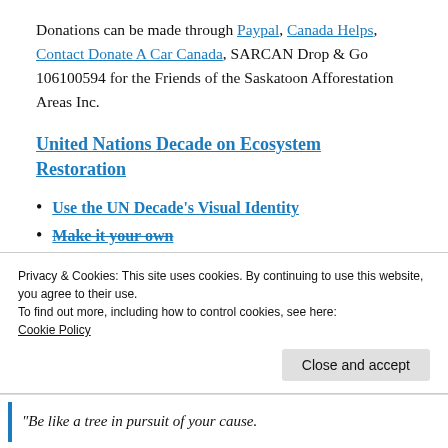Donations can be made through Paypal, Canada Helps, Contact Donate A Car Canada, SARCAN Drop & Go 106100594 for the Friends of the Saskatoon Afforestation Areas Inc.
United Nations Decade on Ecosystem Restoration
Use the UN Decade's Visual Identity
Make it your own
Privacy & Cookies: This site uses cookies. By continuing to use this website, you agree to their use.
To find out more, including how to control cookies, see here:
Cookie Policy
Close and accept
"Be like a tree in pursuit of your cause.